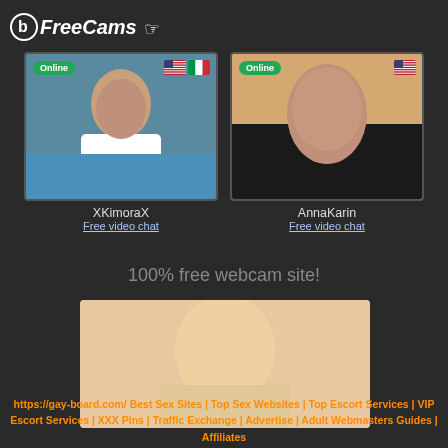[Figure (logo): BFreeCams logo in white text on dark background, top left]
[Figure (photo): Webcam thumbnail of XKimoraX - dark haired woman by pool, Online badge, US and Italian flags]
XKimoraX
Free video chat
[Figure (photo): Webcam thumbnail of AnnaKarin - brunette woman selfie, Online badge, US flag]
AnnaKarin
Free video chat
100% free webcam site!
[Figure (photo): Blonde woman with hands behind head, partial image at bottom]
https://gay-board.com/ Best Sex Sites | Top Sex Websites | Top Escort Services | VIP Escort Services | XXX Pins | Traffic Exchange | Advertise | Adult Webmasters Guides | Affiliates